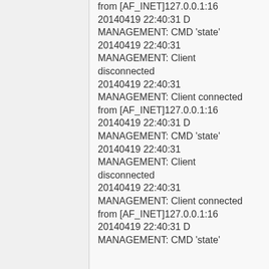from [AF_INET]127.0.0.1:16
20140419 22:40:31 D MANAGEMENT: CMD 'state'
20140419 22:40:31 MANAGEMENT: Client disconnected
20140419 22:40:31 MANAGEMENT: Client connected from [AF_INET]127.0.0.1:16
20140419 22:40:31 D MANAGEMENT: CMD 'state'
20140419 22:40:31 MANAGEMENT: Client disconnected
20140419 22:40:31 MANAGEMENT: Client connected from [AF_INET]127.0.0.1:16
20140419 22:40:31 D MANAGEMENT: CMD 'state'